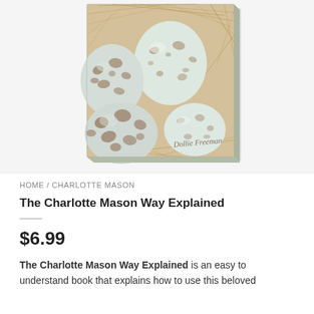[Figure (photo): Book cover showing speckled bird eggs in a straw nest, with cursive text 'Dollie Freeman' on the cover. The book is displayed at a slight angle with a shadow.]
HOME / CHARLOTTE MASON
The Charlotte Mason Way Explained
$6.99
The Charlotte Mason Way Explained is an easy to understand book that explains how to use this beloved